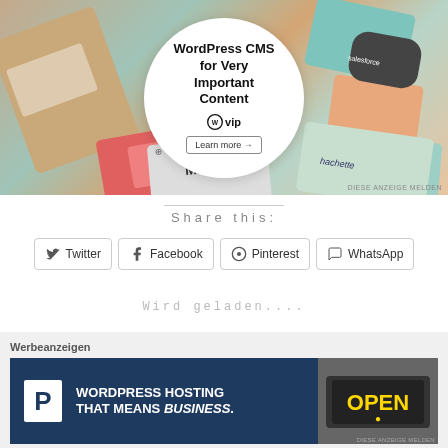[Figure (screenshot): WordPress CMS for Very Important Content, WP VIP ad banner with circular white overlay on colorful card background showing logos including Merck, Salesforce, Hachette]
DIESE ANZEIGE MELDEN
Share this:
Twitter
Facebook
Pinterest
WhatsApp
Wird geladen....
Werbeanzeigen
[Figure (screenshot): Pressable WordPress Hosting banner ad: dark blue background with white P logo box, text WORDPRESS HOSTING THAT MEANS BUSINESS., right side shows OPEN sign photo]